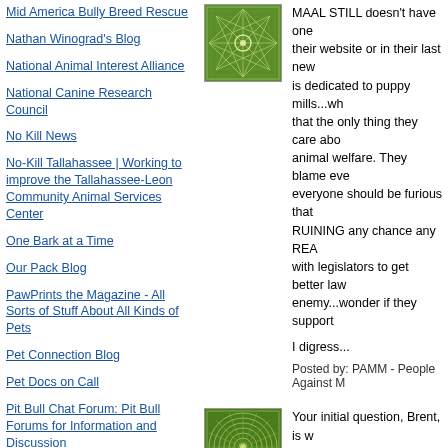Mid America Bully Breed Rescue
Nathan Winograd's Blog
National Animal Interest Alliance
National Canine Research Council
No Kill News
No-Kill Tallahassee | Working to improve the Tallahassee-Leon Community Animal Services Center
One Bark at a Time
Our Pack Blog
PawPrints the Magazine - All Sorts of Stuff About All Kinds of Pets
Pet Connection Blog
Pet Docs on Call
Pit Bull Chat Forum: Pit Bull Forums for Information and Discussion
Pooch Master
Pound Dogs
Raised by Wolves
Retrieverman's Weblog
[Figure (illustration): Green geometric star/web pattern on green background]
MAAL STILL doesn't have one their website or in their last new is dedicated to puppy mills...wh that the only thing they care abo animal welfare. They blame eve everyone should be furious that RUINING any chance any REA with legislators to get better law enemy...wonder if they support
I digress...
Posted by: PAMM - People Against M
[Figure (illustration): Green spiral/swirl pattern on green background]
Your initial question, Brent, is w think it is when a dog/cat/horse return to rescue. Then it is done that says "we can rescue them, d
Posted by: Roberta Beach | Decembe
[Figure (illustration): Gray/blue abstract web pattern]
All HSUS does is lobby. They h